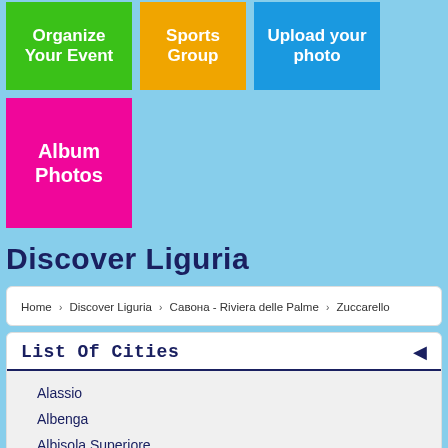[Figure (infographic): Three colored button tiles in a row: green 'Organize Your Event', orange 'Sports Group', blue 'Upload your photo'. Below, a pink tile 'Album Photos'.]
Discover Liguria
Home › Discover Liguria › Савона - Riviera delle Palme › Zuccarello
List Of Cities
Alassio
Albenga
Albisola Superiore
Albissola Marina
Altare
Andora